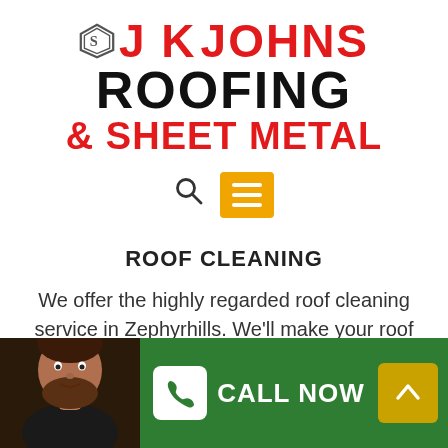[Figure (logo): JK Johns Roofing & Sheet Metal company logo with red text and black text on white background, with a triangular shield icon]
[Figure (infographic): Navigation bar with search icon and orange hamburger menu button]
ROOF CLEANING
We offer the highly regarded roof cleaning service in Zephyrhills. We'll make your roof appear like new again!
[Figure (photo): Photo of a bearded man in a dark shirt against a dark background, partially visible at bottom left]
[Figure (infographic): Green footer bar with white phone icon button labeled CALL NOW and a gold up-arrow button]